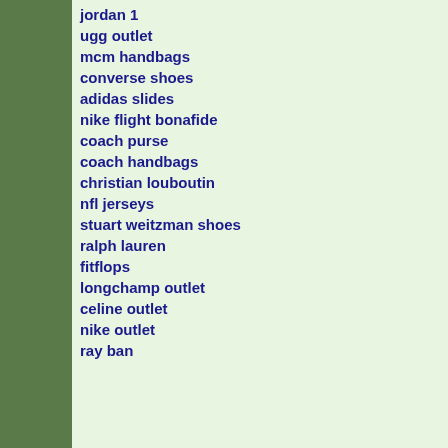jordan 1
ugg outlet
mcm handbags
converse shoes
adidas slides
nike flight bonafide
coach purse
coach handbags
christian louboutin
nfl jerseys
stuart weitzman shoes
ralph lauren
fitflops
longchamp outlet
celine outlet
nike outlet
ray ban